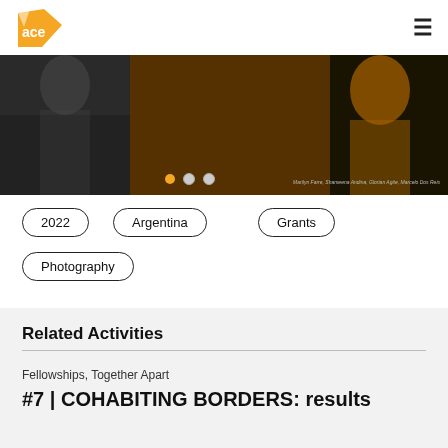ace
[Figure (photo): A dark-toned image strip showing people, partially visible, with navigation dots and a small photo credit in the lower right corner.]
2022
Argentina
Grants
Photography
Related Activities
Fellowships, Together Apart
#7 | COHABITING BORDERS: results